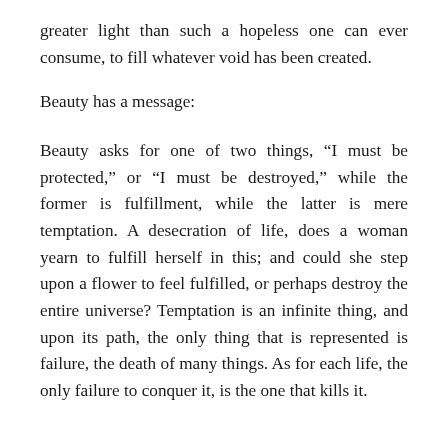greater light than such a hopeless one can ever consume, to fill whatever void has been created.
Beauty has a message:
Beauty asks for one of two things, “I must be protected,” or “I must be destroyed,” while the former is fulfillment, while the latter is mere temptation. A desecration of life, does a woman yearn to fulfill herself in this; and could she step upon a flower to feel fulfilled, or perhaps destroy the entire universe? Temptation is an infinite thing, and upon its path, the only thing that is represented is failure, the death of many things. As for each life, the only failure to conquer it, is the one that kills it.